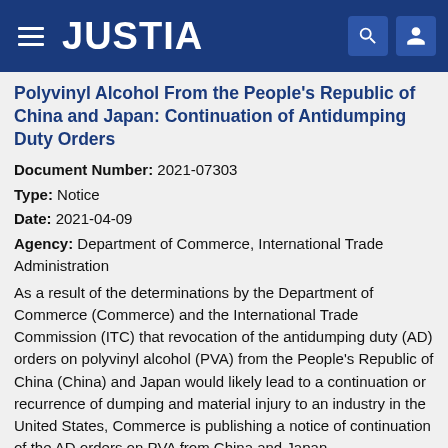JUSTIA
Polyvinyl Alcohol From the People's Republic of China and Japan: Continuation of Antidumping Duty Orders
Document Number: 2021-07303
Type: Notice
Date: 2021-04-09
Agency: Department of Commerce, International Trade Administration
As a result of the determinations by the Department of Commerce (Commerce) and the International Trade Commission (ITC) that revocation of the antidumping duty (AD) orders on polyvinyl alcohol (PVA) from the People's Republic of China (China) and Japan would likely lead to a continuation or recurrence of dumping and material injury to an industry in the United States, Commerce is publishing a notice of continuation of the AD orders on PVA from China and Japan.